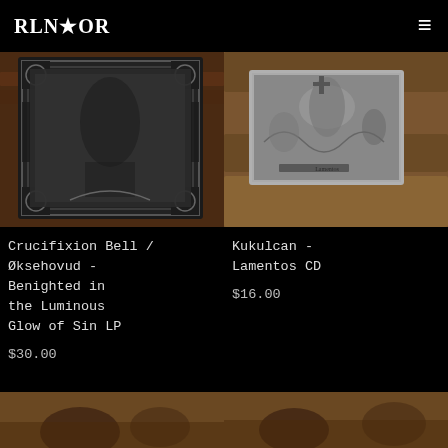KRATON (logo) ☰
[Figure (photo): Product photo of Crucifixion Bell / Øksehovud split LP in ornate black frame against brick wall background]
[Figure (photo): Product photo of Kukulcan - Lamentos CD on stone/brick surface, metal CD case with detailed artwork]
Crucifixion Bell / Øksehovud - Benighted in the Luminous Glow of Sin LP
$30.00
Kukulcan - Lamentos CD
$16.00
[Figure (photo): Partially visible product photo at bottom left]
[Figure (photo): Partially visible product photo at bottom right]